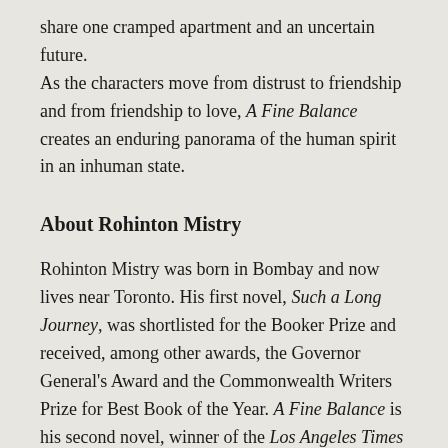share one cramped apartment and an uncertain future.
As the characters move from distrust to friendship and from friendship to love, A Fine Balance creates an enduring panorama of the human spirit in an inhuman state.
About Rohinton Mistry
Rohinton Mistry was born in Bombay and now lives near Toronto. His first novel, Such a Long Journey, was shortlisted for the Booker Prize and received, among other awards, the Governor General's Award and the Commonwealth Writers Prize for Best Book of the Year. A Fine Balance is his second novel, winner of the Los Angeles Times Book Prize in Fiction, the Giller Prize, and the Commonwealth Writers Prize as well as a Booker Prize finalist. Mistry is also the author of